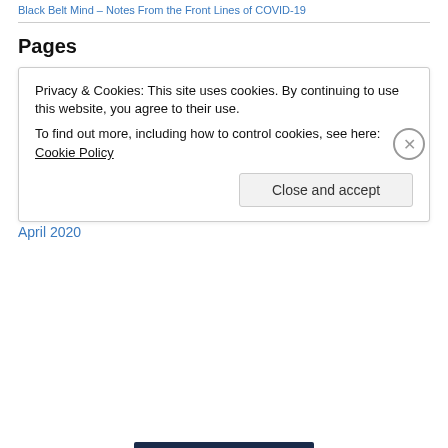Black Belt Mind – Notes From the Front Lines of COVID-19
Pages
10 Rules for Doing Pregnant Karate
About Laure Baudot and this Blog
Pregnant Karate
Archives
May 2020
April 2020
Privacy & Cookies: This site uses cookies. By continuing to use this website, you agree to their use. To find out more, including how to control cookies, see here: Cookie Policy
Close and accept